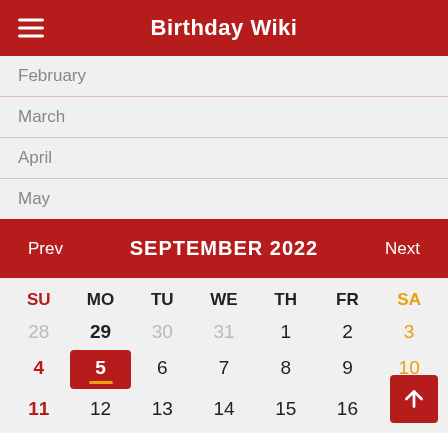Birthday Wiki
February
March
April
May
Prev   SEPTEMBER 2022   Next
| SU | MO | TU | WE | TH | FR | SA |
| --- | --- | --- | --- | --- | --- | --- |
| 28 | 29 | 30 | 31 | 1 | 2 | 3 |
| 4 | 5 | 6 | 7 | 8 | 9 | 10 |
| 11 | 12 | 13 | 14 | 15 | 16 |  |